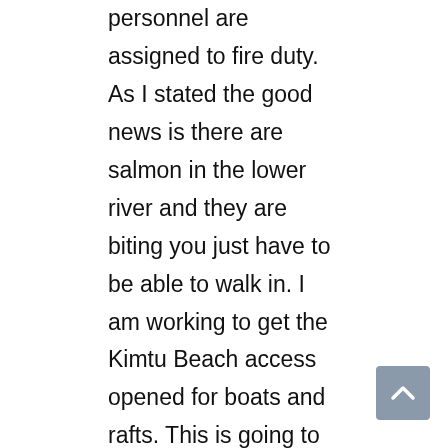personnel are assigned to fire duty. As I stated the good news is there are salmon in the lower river and they are biting you just have to be able to walk in. I am working to get the Kimtu Beach access opened for boats and rafts. This is going to take some time but I hope not long. From what I have been able to find out is that there are a lot more salmon trying to go by the weir than are being counted. This is great because the counts have been low for this time of the year. Up river is going great and there is salmon from Del Loma all the way up to Lewiston and the fish are biting. Fly fishing is slow right now but should pick up in the next couple of weeks as the air and water temperatures are slowly dropping. As the weather gets colder the steelhead fishing gets better. The